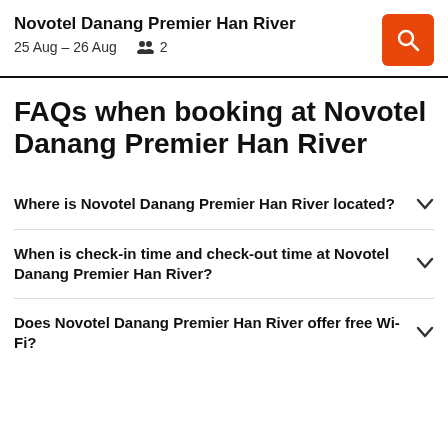Novotel Danang Premier Han River
25 Aug – 26 Aug   2
FAQs when booking at Novotel Danang Premier Han River
Where is Novotel Danang Premier Han River located?
When is check-in time and check-out time at Novotel Danang Premier Han River?
Does Novotel Danang Premier Han River offer free Wi-Fi?